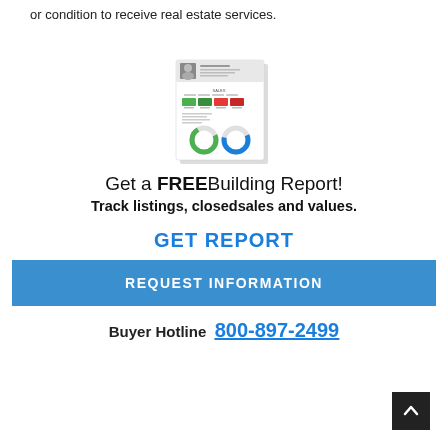or condition to receive real estate services.
[Figure (illustration): A miniature building report document showing a person's photo, statistics with colored boxes (green, red), and donut charts (green and blue).]
Get a FREEBuilding Report!
Track listings, closedsales and values.
GET REPORT
REQUEST INFORMATION
Buyer Hotline  800-897-2499